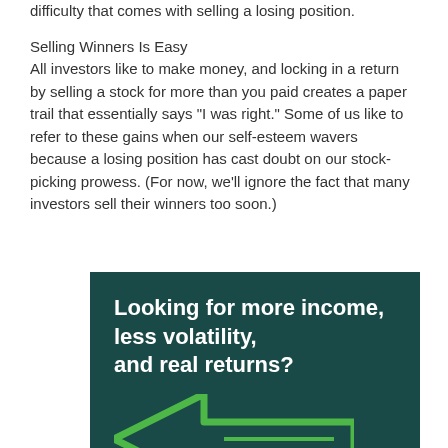difficulty that comes with selling a losing position.
Selling Winners Is Easy
All investors like to make money, and locking in a return by selling a stock for more than you paid creates a paper trail that essentially says "I was right." Some of us like to refer to these gains when our self-esteem wavers because a losing position has cast doubt on our stock-picking prowess. (For now, we'll ignore the fact that many investors sell their winners too soon.)
[Figure (infographic): Dark teal advertisement box with bold white text reading 'Looking for more income, less volatility, and real returns?' with a large green arrow graphic below.]